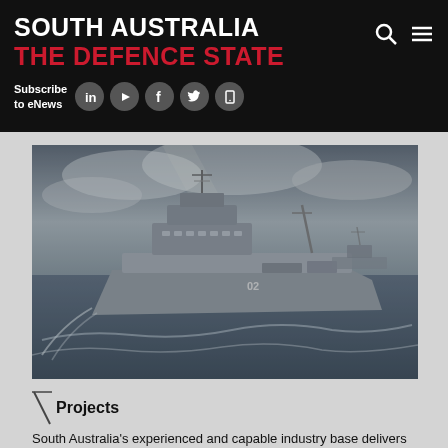SOUTH AUSTRALIA THE DEFENCE STATE
Subscribe to eNews
[Figure (photo): A large naval patrol vessel / warship sailing at sea with rough waves, photographed in dramatic overcast conditions. A second vessel is visible in the background.]
Projects
South Australia's experienced and capable industry base delivers many of the country's largest and most